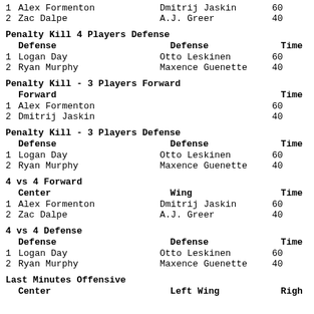1 Alex Formenton   Dmitrij Jaskin   60
2 Zac Dalpe        A.J. Greer       40
Penalty Kill 4 Players Defense
Defense   Defense   Time
1 Logan Day        Otto Leskinen    60
2 Ryan Murphy      Maxence Guenette 40
Penalty Kill - 3 Players Forward
Forward   Time
1 Alex Formenton   60
2 Dmitrij Jaskin   40
Penalty Kill - 3 Players Defense
Defense   Defense   Time
1 Logan Day        Otto Leskinen    60
2 Ryan Murphy      Maxence Guenette 40
4 vs 4 Forward
Center   Wing   Time
1 Alex Formenton   Dmitrij Jaskin   60
2 Zac Dalpe        A.J. Greer       40
4 vs 4 Defense
Defense   Defense   Time
1 Logan Day        Otto Leskinen    60
2 Ryan Murphy      Maxence Guenette 40
Last Minutes Offensive
Center   Left Wing   Right